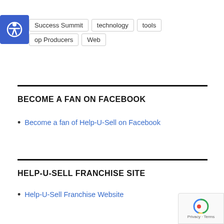Success Summit
technology
tools
Top Producers
Web
BECOME A FAN ON FACEBOOK
Become a fan of Help-U-Sell on Facebook
HELP-U-SELL FRANCHISE SITE
Help-U-Sell Franchise Website